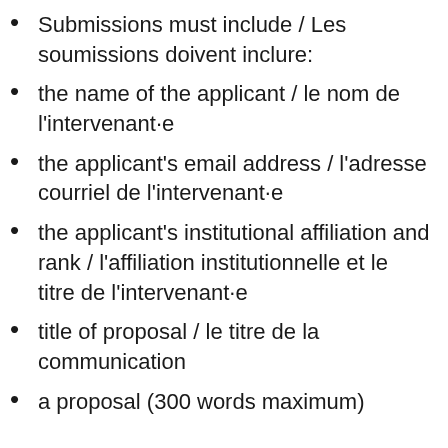Submissions must include / Les soumissions doivent inclure:
the name of the applicant / le nom de l'intervenant·e
the applicant's email address / l'adresse courriel de l'intervenant·e
the applicant's institutional affiliation and rank / l'affiliation institutionnelle et le titre de l'intervenant·e
title of proposal / le titre de la communication
a proposal (300 words maximum)